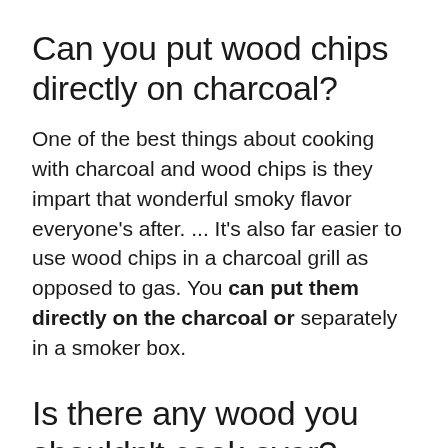Can you put wood chips directly on charcoal?
One of the best things about cooking with charcoal and wood chips is they impart that wonderful smoky flavor everyone's after. ... It's also far easier to use wood chips in a charcoal grill as opposed to gas. You can put them directly on the charcoal or separately in a smoker box.
Is there any wood you shouldn't cook over?
Softwoods such as pine, redwood, fir, cedar and cypress are not ideal for cooking because they contain terpenes and sap. This